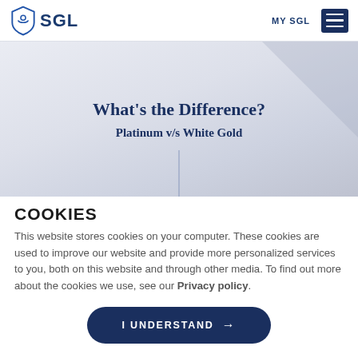SGL | MY SGL
[Figure (screenshot): Website banner showing 'What's the Difference? Platinum v/s White Gold' with gray gradient background and a vertical line divider at the bottom]
COOKIES
This website stores cookies on your computer. These cookies are used to improve our website and provide more personalized services to you, both on this website and through other media. To find out more about the cookies we use, see our Privacy policy.